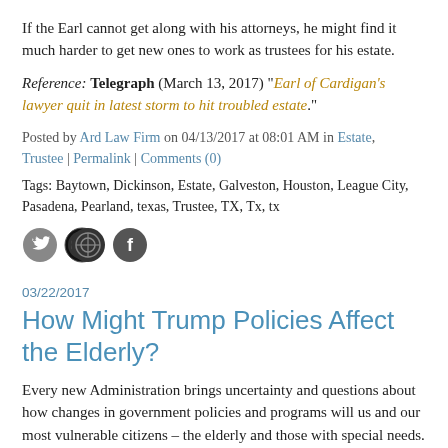If the Earl cannot get along with his attorneys, he might find it much harder to get new ones to work as trustees for his estate.
Reference: Telegraph (March 13, 2017) "Earl of Cardigan's lawyer quit in latest storm to hit troubled estate."
Posted by Ard Law Firm on 04/13/2017 at 08:01 AM in Estate, Trustee | Permalink | Comments (0)
Tags: Baytown, Dickinson, Estate, Galveston, Houston, League City, Pasadena, Pearland, texas, Trustee, TX, Tx, tx
[Figure (other): Three social media icon buttons: Twitter bird, Pinterest pin, Facebook f]
03/22/2017
How Might Trump Policies Affect the Elderly?
Every new Administration brings uncertainty and questions about how changes in government policies and programs will us and our most vulnerable citizens – the elderly and those with special needs. Michael Gilfix, a nationally known authority in the field of law, aging